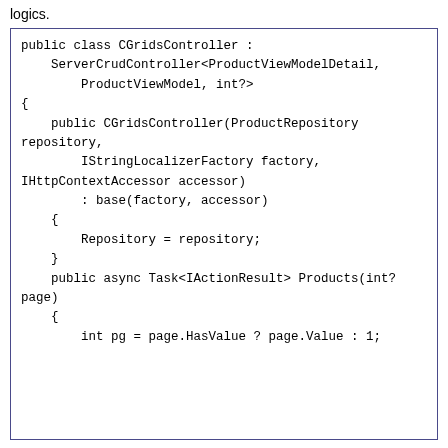logics.
public class CGridsController :
    ServerCrudController<ProductViewModelDetail,
        ProductViewModel, int?>
{
    public CGridsController(ProductRepository repository,
        IStringLocalizerFactory factory,
IHttpContextAccessor accessor)
        : base(factory, accessor)
    {
        Repository = repository;
    }
    public async Task<IActionResult> Products(int? page)
    {
        int pg = page.HasValue ? page.Value : 1;